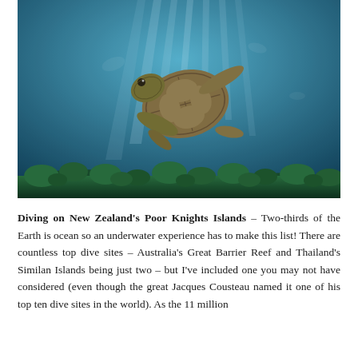[Figure (photo): Underwater photograph of a sea turtle swimming above a coral reef with sunlight rays streaming down from the water surface above.]
Diving on New Zealand's Poor Knights Islands – Two-thirds of the Earth is ocean so an underwater experience has to make this list! There are countless top dive sites – Australia's Great Barrier Reef and Thailand's Similan Islands being just two – but I've included one you may not have considered (even though the great Jacques Cousteau named it one of his top ten dive sites in the world). As the 11 million